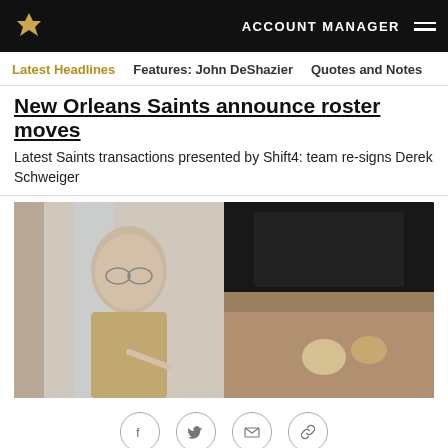ACCOUNT MANAGER
Latest Headlines   Features: John DeShazier   Quotes and Notes
New Orleans Saints announce roster moves
Latest Saints transactions presented by Shift4: team re-signs Derek Schweiger
[Figure (photo): Split image: left side shows an older man with grey hair and glasses in a suit pointing at something; right side shows hands handling objects in sand or dirt.]